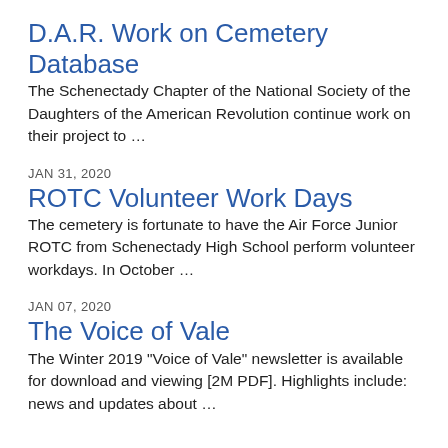D.A.R. Work on Cemetery Database
The Schenectady Chapter of the National Society of the Daughters of the American Revolution continue work on their project to …
JAN 31, 2020
ROTC Volunteer Work Days
The cemetery is fortunate to have the Air Force Junior ROTC from Schenectady High School perform volunteer workdays.  In October …
JAN 07, 2020
The Voice of Vale
The Winter 2019 "Voice of Vale" newsletter is available for download and viewing [2M PDF]. Highlights include: news and updates about …